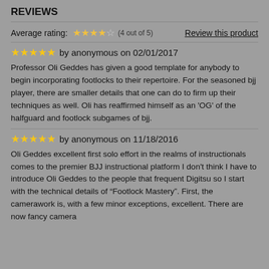REVIEWS
Average rating: ★★★★☆ (4 out of 5)   Review this product
★★★★★ by anonymous on 02/01/2017
Professor Oli Geddes has given a good template for anybody to begin incorporating footlocks to their repertoire. For the seasoned bjj player, there are smaller details that one can do to firm up their techniques as well. Oli has reaffirmed himself as an 'OG' of the halfguard and footlock subgames of bjj.
★★★★★ by anonymous on 11/18/2016
Oli Geddes excellent first solo effort in the realms of instructionals comes to the premier BJJ instructional platform I don't think I have to introduce Oli Geddes to the people that frequent Digitsu so I start with the technical details of "Footlock Mastery". First, the camerawork is, with a few minor exceptions, excellent. There are now fancy camera